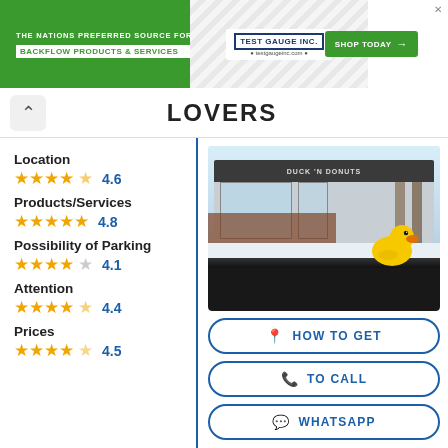[Figure (screenshot): Advertisement banner for Test Gauge Inc. showing 'THE NATIONS PREFERRED SOURCE FOR BACKFLOW PRODUCTS & SERVICES' with green background and Shop Today button]
LOVERS
Location
★★★★☆ 4.6
Products/Services
★★★★★ 4.8
Possibility of Parking
★★★★☆ 4.1
Attention
★★★★☆ 4.4
Prices
★★★★☆ 4.5
[Figure (photo): Photo of Duck Donuts store exterior with a yellow rubber duck on car dashboard in foreground]
HOW TO GET
TO CALL
WHATSAPP